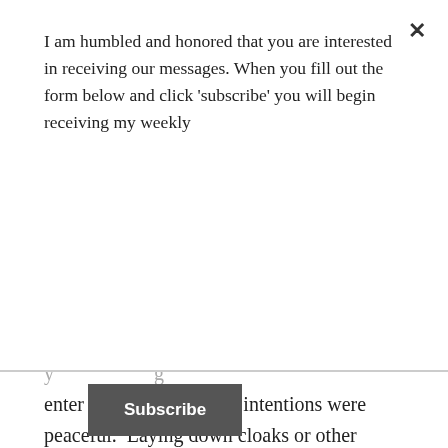I am humbled and honored that you are interested in receiving our messages. When you fill out the form below and click 'subscribe' you will begin receiving my weekly
Subscribe
enter the city when their intentions were peaceful.  Laying down cloaks or other items of clothing along the road was, again, the way that kings or heroes were greeted, much as we greet dignitaries today with a red carpet.  And waving palm branches was as close as the people could come to waving an Israeli flag.  Taken together, within sight of the Antonia Fortress which adjoined the Temple and was the headquarters for the Roman garrison, the people were